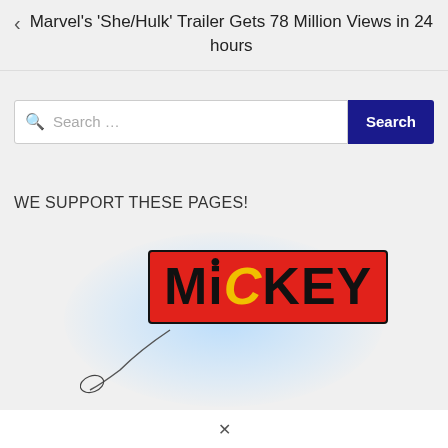Marvel's 'She/Hulk' Trailer Gets 78 Million Views in 24 hours
Search …
WE SUPPORT THESE PAGES!
[Figure (logo): Mickey brand logo: red rectangular tag with bold black text reading MICKEY, where the letter C is styled in yellow, and the letter i has a black dot above it. A string/ribbon is shown at the lower left of the tag.]